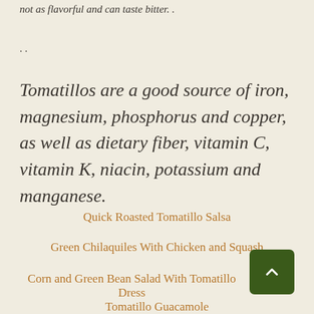not as flavorful and can taste bitter. .
. .
Tomatillos are a good source of iron, magnesium, phosphorus and copper, as well as dietary fiber, vitamin C, vitamin K, niacin, potassium and manganese.
Quick Roasted Tomatillo Salsa
Green Chilaquiles With Chicken and Squash
Corn and Green Bean Salad With Tomatillo Dress
Tomatillo Guacamole